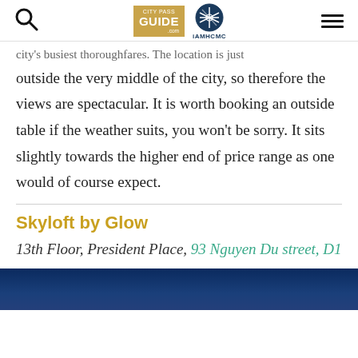City Pass Guide | iAMHCMC
city's busiest thoroughfares. The location is just outside the very middle of the city, so therefore the views are spectacular. It is worth booking an outside table if the weather suits, you won't be sorry. It sits slightly towards the higher end of price range as one would of course expect.
Skyloft by Glow
13th Floor, President Place, 93 Nguyen Du street, D1
[Figure (photo): Dark blue banner image at the bottom of the page]